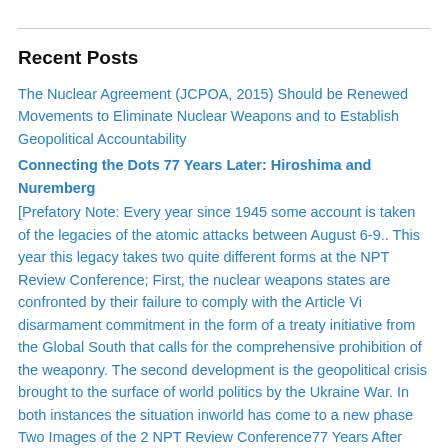Recent Posts
The Nuclear Agreement (JCPOA, 2015) Should be Renewed Movements to Eliminate Nuclear Weapons and to Establish Geopolitical Accountability
Connecting the Dots 77 Years Later: Hiroshima and Nuremberg
[Prefatory Note: Every year since 1945 some account is taken of the legacies of the atomic attacks between August 6-9.. This year this legacy takes two quite different forms at the NPT Review Conference; First, the nuclear weapons states are confronted by their failure to comply with the Article VI disarmament commitment in the form of a treaty initiative from the Global South that calls for the comprehensive prohibition of the weaponry. The second development is the geopolitical crisis brought to the surface of world politics by the Ukraine War. In both instances the situation inworld has come to a new phase Two Images of the 2 NPT Review Conference77 Years After Hiroshima and NagasakiPeace activists around the world often choose August 6th and 9th each year to grieve anew the human suffering and devastation